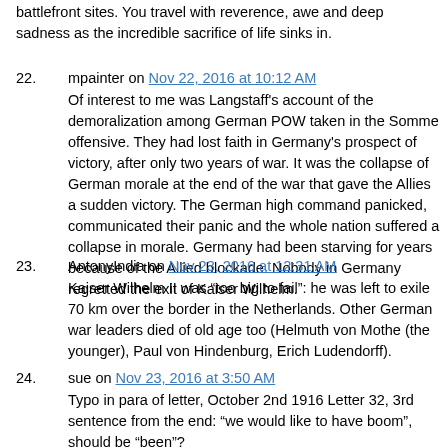battlefront sites. You travel with reverence, awe and deep sadness as the incredible sacrifice of life sinks in.
22. mpainter on Nov 22, 2016 at 10:12 AM
Of interest to me was Langstaff's account of the demoralization among German POW taken in the Somme offensive. They had lost faith in Germany's prospect of victory, after only two years of war. It was the collapse of German morale at the end of the war that gave the Allies a sudden victory. The German high command panicked, communicated their panic and the whole nation suffered a collapse in morale. Germany had been starving for years because of the Allied blockade. Nobody in Germany regretted the exit of Kaiser Wilhelm.
23. AntonyIndia on Nov 23, 2016 at 12:31 AM
Kaiser Wilhelm II was “too big to fail”: he was left to exile 70 km over the border in the Netherlands. Other German war leaders died of old age too (Helmuth von Mothe (the younger), Paul von Hindenburg, Erich Ludendorff).
24. sue on Nov 23, 2016 at 3:50 AM
Typo in para of letter, October 2nd 1916 Letter 32, 3rd sentence from the end: “we would like to have boom”, should be “been”?